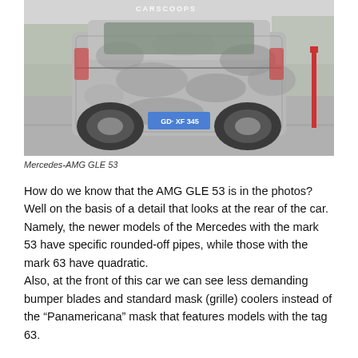[Figure (photo): Rear view of a camouflaged Mercedes-AMG GLE 53 SUV on a road, with a CARSCOOPS watermark visible at the top. The vehicle has a German license plate reading GD-XF 345.]
Mercedes-AMG GLE 53
How do we know that the AMG GLE 53 is in the photos? Well on the basis of a detail that looks at the rear of the car. Namely, the newer models of the Mercedes with the mark 53 have specific rounded-off pipes, while those with the mark 63 have quadratic.
Also, at the front of this car we can see less demanding bumper blades and standard mask (grille) coolers instead of the "Panamericana" mask that features models with the tag 63.